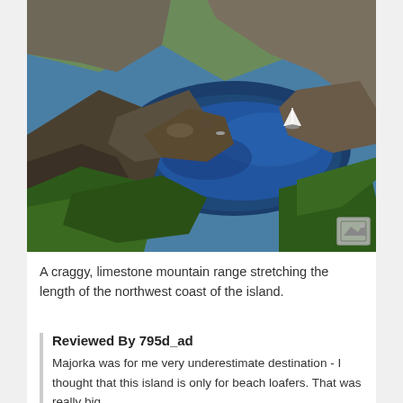[Figure (photo): Aerial view of a craggy limestone coastline with a deep blue bay or cove, rocky cliffs covered in scrubby vegetation, and a sailboat visible on the water. The scene is Mallorca's northwest coast.]
A craggy, limestone mountain range stretching the length of the northwest coast of the island.
Reviewed By 795d_ad
Majorka was for me very underestimate destination - I thought that this island is only for beach loafers. That was really big